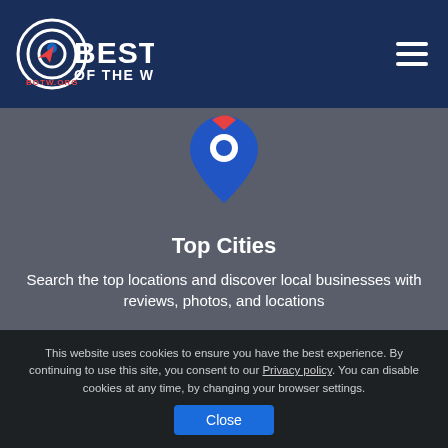BEST OF THE WEB - BOTW.ORG
[Figure (illustration): Location pin icon (blue and red map marker) on gray background]
Top Cities
Search the top locations and discover local businesses with reviews, photos, and locations
This website uses cookies to ensure you have the best experience. By continuing to use this site, you consent to our Privacy policy. You can disable cookies at any time, by changing your browser settings.